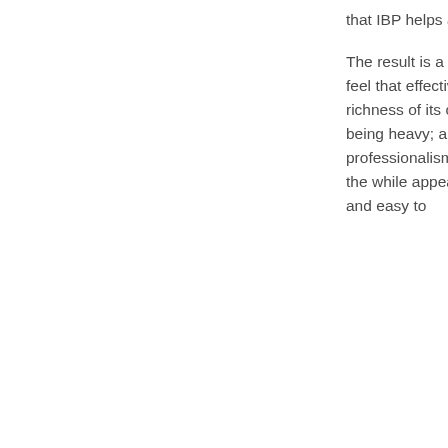that IBP helps across the globe."
The result is a site with a look & feel that effectively conveys the richness of its contents without being heavy; and a sense of professionalism and expertise all the while appearing bright, crisp and easy to